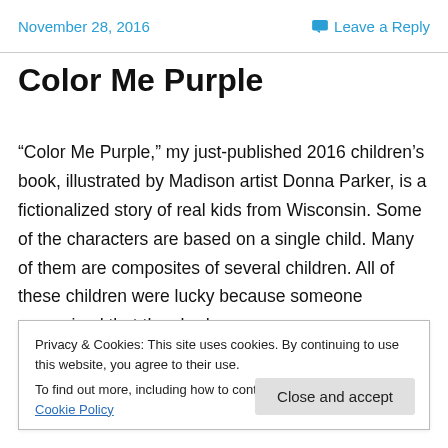November 28, 2016   Leave a Reply
Color Me Purple
“Color Me Purple,” my just-published 2016 children’s book, illustrated by Madison artist Donna Parker, is a fictionalized story of real kids from Wisconsin. Some of the characters are based on a single child. Many of them are composites of several children. All of these children were lucky because someone recognized that they had a
Privacy & Cookies: This site uses cookies. By continuing to use this website, you agree to their use.
To find out more, including how to control cookies, see here: Cookie Policy
Close and accept